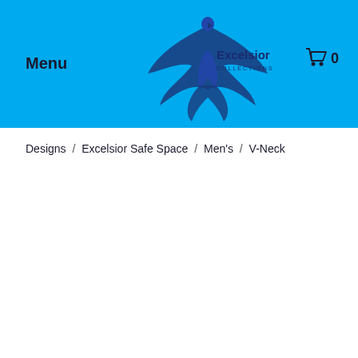Menu  Excelsior  0
Designs / Excelsior Safe Space / Men's / V-Neck